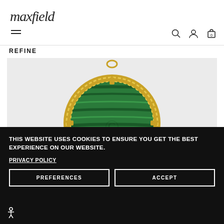maxfield
REFINE
[Figure (photo): A round malachite pendant with green stone and gold braided border frame with prong settings, suspended from a gold bail, photographed from front on light grey background.]
THIS WEBSITE USES COOKIES TO ENSURE YOU GET THE BEST EXPERIENCE ON OUR WEBSITE.
PRIVACY POLICY
PREFERENCES
ACCEPT